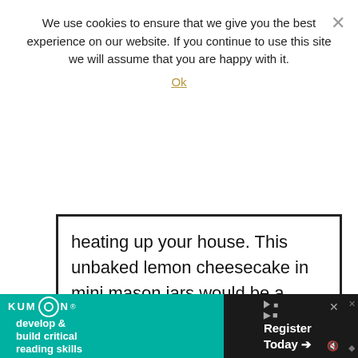We use cookies to ensure that we give you the best experience on our website. If you continue to use this site we will assume that you are happy with it.
Ok
heating up your house. This unbaked lemon cheesecake in mini mason jars would be a great dessert for a bridal shower, baby shower or anytime really! NO BAKE LEMON CHEESECAKE This page may contain affiliate …
Read More
[Figure (screenshot): Advertisement banner for Kumon reading skills program with 'Register Today' call-to-action button on dark background]